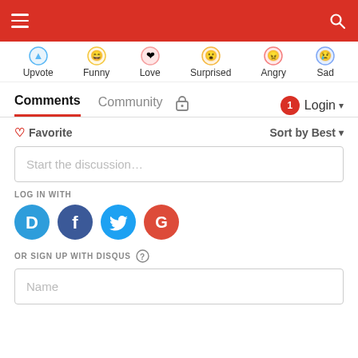Navigation bar with hamburger menu and search icon
Upvote  Funny  Love  Surprised  Angry  Sad
Comments  Community  Login
Favorite  Sort by Best
Start the discussion…
LOG IN WITH
[Figure (logo): Social login icons: Disqus (D), Facebook (F), Twitter bird, Google (G)]
OR SIGN UP WITH DISQUS ?
Name